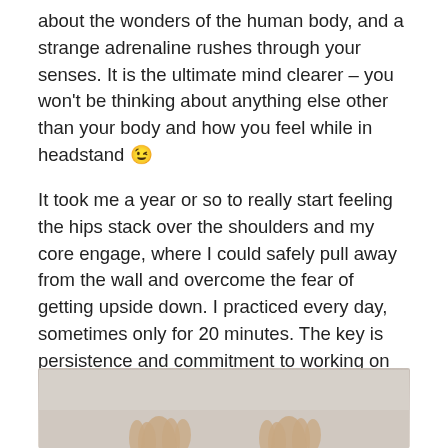about the wonders of the human body, and a strange adrenaline rushes through your senses. It is the ultimate mind clearer – you won't be thinking about anything else other than your body and how you feel while in headstand 😉
It took me a year or so to really start feeling the hips stack over the shoulders and my core engage, where I could safely pull away from the wall and overcome the fear of getting upside down. I practiced every day, sometimes only for 20 minutes. The key is persistence and commitment to working on the prep poses to properly build the foundations for getting into a safe headstand.
I hope you find this useful : happy headstanding!
[Figure (photo): Partial photo showing hands/feet of a person doing a headstand, with a light neutral background]